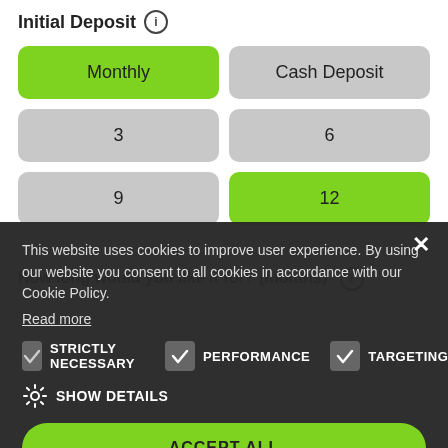Initial Deposit
Monthly
Cash Deposit
3
6
9
12
How long would you like it for? (months)
This website uses cookies to improve user experience. By using our website you consent to all cookies in accordance with our Cookie Policy. Read more
STRICTLY NECESSARY
PERFORMANCE
TARGETING
SHOW DETAILS
ACCEPT ALL